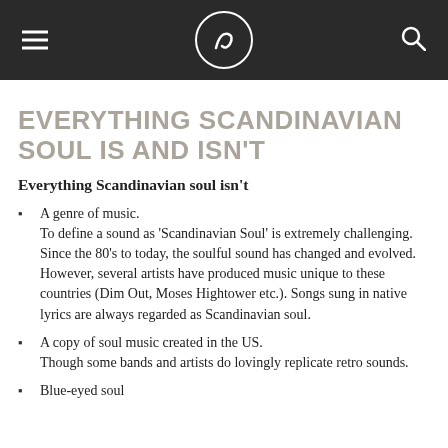≡ [logo] 🔍
EVERYTHING SCANDINAVIAN SOUL IS AND ISN'T
Everything Scandinavian soul isn't
A genre of music.
To define a sound as 'Scandinavian Soul' is extremely challenging. Since the 80's to today, the soulful sound has changed and evolved. However, several artists have produced music unique to these countries (Dim Out, Moses Hightower etc.). Songs sung in native lyrics are always regarded as Scandinavian soul.
A copy of soul music created in the US.
Though some bands and artists do lovingly replicate retro sounds.
Blue-eyed soul